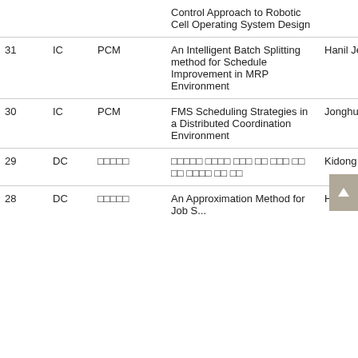| # | Type | Category | Title | Author |
| --- | --- | --- | --- | --- |
|  |  |  | Control Approach to Robotic Cell Operating System Design |  |
| 31 | IC | PCM | An Intelligent Batch Splitting method for Schedule Improvement in MRP Environment | Hanil Jeong |
| 30 | IC | PCM | FMS Scheduling Strategies in a Distributed Coordination Environment | Jonghun Park |
| 29 | DC | □□□□□ | □□□□□ □□□□ □□□ □□ □□□ □□ □□ □□□□ □□ □□ | Kidong Kim |
| 28 | DC | □□□□□ | An Approximation Method for Job S... | Hanil Jeong |